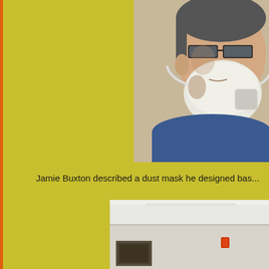[Figure (photo): Close-up photo of a man with glasses wearing a white respirator/dust mask, wearing a blue shirt, against a beige wall background.]
Jamie Buxton described a dust mask he designed bas...
[Figure (photo): Interior room photo showing a white wall with a framed picture and what appears to be a fire alarm or device mounted on the wall.]